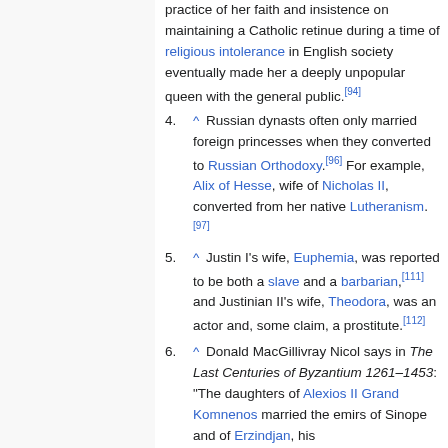practice of her faith and insistence on maintaining a Catholic retinue during a time of religious intolerance in English society eventually made her a deeply unpopular queen with the general public.[94]
4. ^ Russian dynasts often only married foreign princesses when they converted to Russian Orthodoxy.[96] For example, Alix of Hesse, wife of Nicholas II, converted from her native Lutheranism.[97]
5. ^ Justin I's wife, Euphemia, was reported to be both a slave and a barbarian,[111] and Justinian II's wife, Theodora, was an actor and, some claim, a prostitute.[112]
6. ^ Donald MacGillivray Nicol says in The Last Centuries of Byzantium 1261–1453: "The daughters of Alexios II Grand Komnenos married the emirs of Sinope and of Erzindjan, his